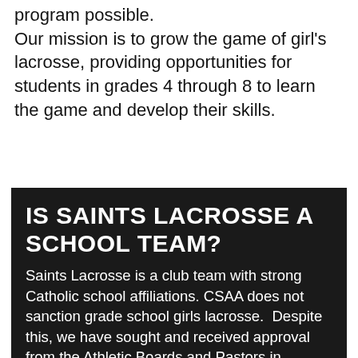the parents who make this lacrosse program possible. Our mission is to grow the game of girl's lacrosse, providing opportunities for students in grades 4 through 8 to learn the game and develop their skills.
IS SAINTS LACROSSE A SCHOOL TEAM?
Saints Lacrosse is a club team with strong Catholic school affiliations. CSAA does not sanction grade school girls lacrosse. Despite this, we have sought and received approval from the Athletic Boards and Pastors in accordance with the CSAA handbook, and we voluntarily follow applicable